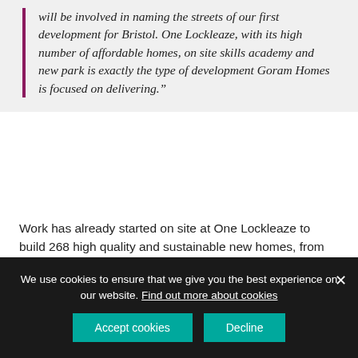will be involved in naming the streets of our first development for Bristol. One Lockleaze, with its high number of affordable homes, on site skills academy and new park is exactly the type of development Goram Homes is focused on delivering."
Work has already started on site at One Lockleaze to build 268 high quality and sustainable new homes, from apartments to four-bedroom family houses, including 147 affordable homes for social rent and shared ownership. A new community park will be located at the heart of the development, and, as part of the Joint Venture's
We use cookies to ensure that we give you the best experience on our website. Find out more about cookies